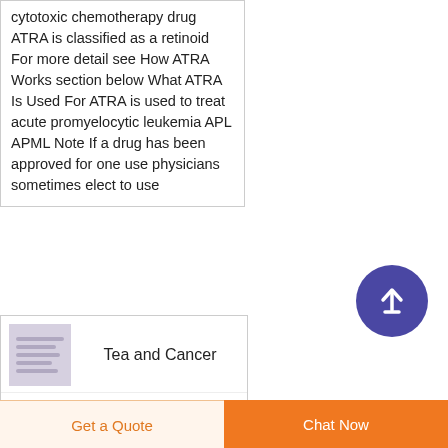cytotoxic chemotherapy drug ATRA is classified as a retinoid For more detail see How ATRA Works section below What ATRA Is Used For ATRA is used to treat acute promyelocytic leukemia APL APML Note If a drug has been approved for one use physicians sometimes elect to use
[Figure (other): Circular scroll-to-top button with upward arrow, dark purple/indigo color]
[Figure (other): Thumbnail image placeholder with wavy lines on purple background]
Tea and Cancer
PreventionNational Cancer Institute
Tea is one of the most ancient
Get a Quote
Chat Now